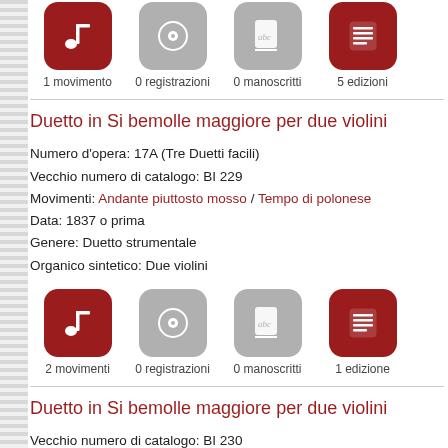[Figure (infographic): Row of four icons: red music note (1 movimento), gray CD (0 registrazioni), gray manuscript (0 manoscritti), red document (5 edizioni)]
Duetto in Si bemolle maggiore per due violini
Numero d'opera: 17A (Tre Duetti facili)
Vecchio numero di catalogo: BI 229
Movimenti: Andante piuttosto mosso / Tempo di polonese
Data: 1837 o prima
Genere: Duetto strumentale
Organico sintetico: Due violini
[Figure (infographic): Row of four icons: red music note (2 movimenti), gray CD (0 registrazioni), gray manuscript (0 manoscritti), red document (1 edizione)]
Duetto in Si bemolle maggiore per due violini
Vecchio numero di catalogo: BI 230